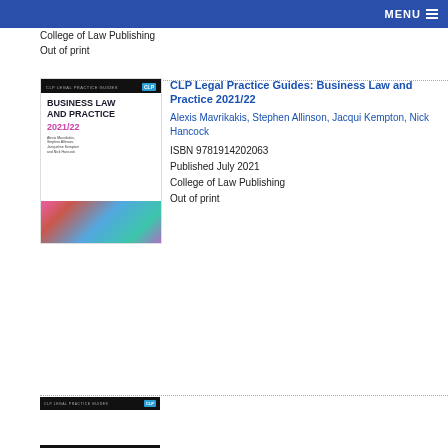MENU
College of Law Publishing
Out of print
[Figure (illustration): Book cover of CLP Legal Practice Guides: Business Law and Practice 2021/22, black header with CLP badge, white section with bold title, pink year, author names, and colorful abstract image at bottom]
CLP Legal Practice Guides: Business Law and Practice 2021/22
Alexis Mavrikakis, Stephen Allinson, Jacqui Kempton, Nick Hancock
ISBN 9781914202063
Published July 2021
College of Law Publishing
Out of print
[Figure (illustration): Bottom of another book cover, black header with CLP badge]